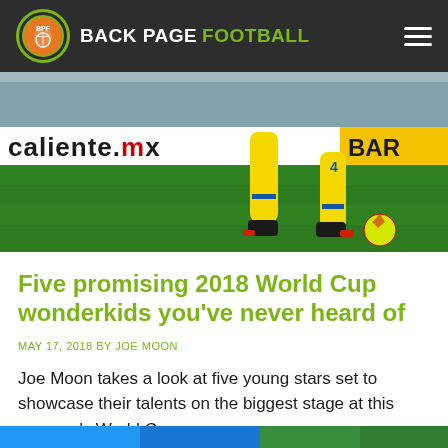BACK PAGE FOOTBALL
[Figure (photo): A football player wearing yellow kit dribbling on a green pitch. Advertising boards show 'caliente.mx' and 'BARD' text. A yellow football is on the grass.]
Five promising 2018 World Cup wonderkids you’ve never heard of
MAY 17, 2018 BY JOE MOON
Joe Moon takes a look at five young stars set to showcase their talents on the biggest stage at this summer’s World Cup.
[Figure (photo): Partial bottom strip showing another image, blue tones visible.]